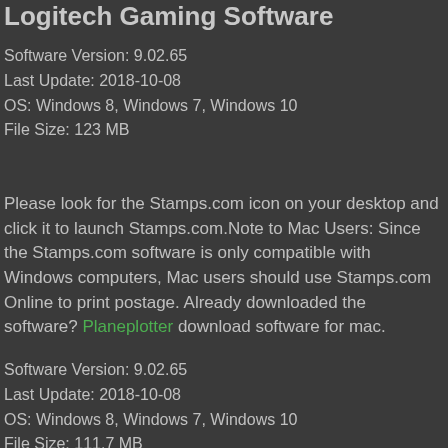Logitech Gaming Software
Software Version: 9.02.65
Last Update: 2018-10-08
OS: Windows 8, Windows 7, Windows 10
File Size: 123 MB
Please look for the Stamps.com icon on your desktop and click it to launch Stamps.com.Note to Mac Users: Since the Stamps.com software is only compatible with Windows computers, Mac users should use Stamps.com Online to print postage. Already downloaded the software? Planeplotter download software for mac.
Software Version: 9.02.65
Last Update: 2018-10-08
OS: Windows 8, Windows 7, Windows 10
File Size: 111.7 MB